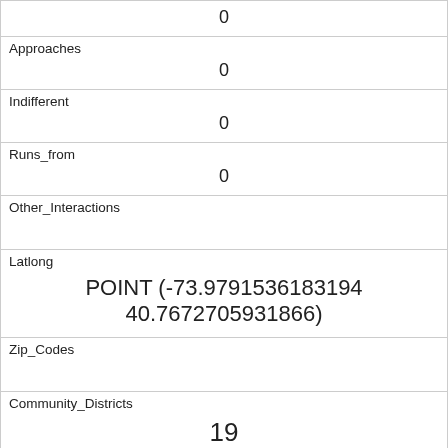| 0 |
| Approaches | 0 |
| Indifferent | 0 |
| Runs_from | 0 |
| Other_Interactions |  |
| Latlong | POINT (-73.9791536183194 40.7672705931866) |
| Zip_Codes |  |
| Community_Districts | 19 |
| Borough_Boundaries | 4 |
| City_Council_Districts | 19 |
| Police_Precincts |  |